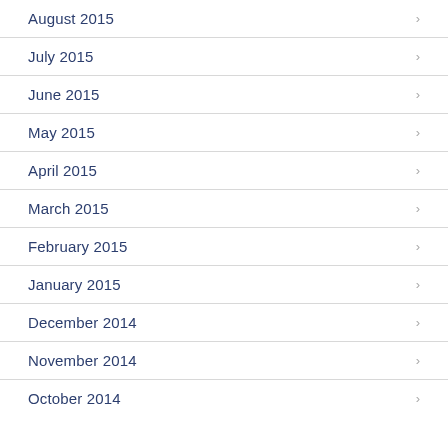August 2015
July 2015
June 2015
May 2015
April 2015
March 2015
February 2015
January 2015
December 2014
November 2014
October 2014